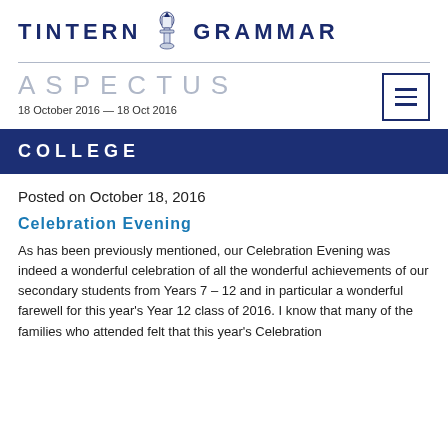TINTERN GRAMMAR
ASPECTUS
18 October 2016 — 18 Oct 2016
COLLEGE
Posted on October 18, 2016
Celebration Evening
As has been previously mentioned, our Celebration Evening was indeed a wonderful celebration of all the wonderful achievements of our secondary students from Years 7 – 12 and in particular a wonderful farewell for this year's Year 12 class of 2016. I know that many of the families who attended felt that this year's Celebration